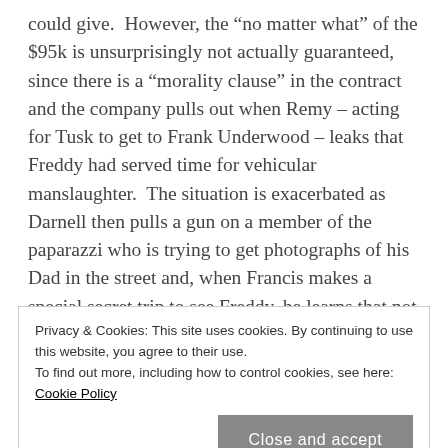could give. However, the “no matter what” of the $95k is unsurprisingly not actually guaranteed, since there is a “morality clause” in the contract and the company pulls out when Remy – acting for Tusk to get to Frank Underwood – leaks that Freddy had served time for vehicular manslaughter. The situation is exacerbated as Darnell then pulls a gun on a member of the paparazzi who is trying to get photographs of his Dad in the street and, when Francis makes a special secret trip to see Freddy, he learns that not only has he lost the franchise deal, but also he has to sell his restaurant in order to put
Privacy & Cookies: This site uses cookies. By continuing to use this website, you agree to their use.
To find out more, including how to control cookies, see here: Cookie Policy
“they done stepped on the wrong damn